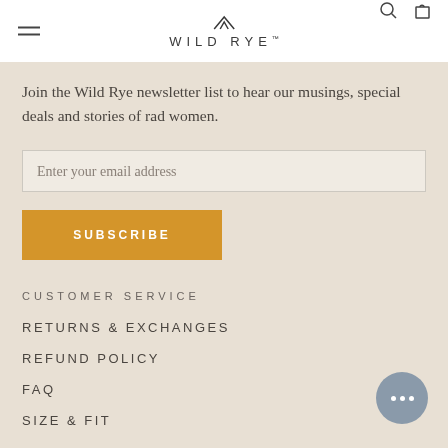WILD RYE
Join the Wild Rye newsletter list to hear our musings, special deals and stories of rad women.
Enter your email address
SUBSCRIBE
CUSTOMER SERVICE
RETURNS & EXCHANGES
REFUND POLICY
FAQ
SIZE & FIT